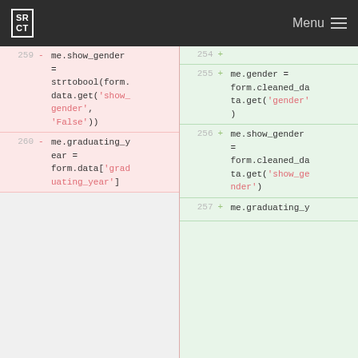SRCT | Menu
[Figure (screenshot): Code diff view showing two columns. Left (red/removed) shows lines 259-260 with me.show_gender = strtobool(form.data.get('show_gender', 'False')) and me.graduating_year = form.data['graduating_year']. Right (green/added) shows lines 254-257 with me.gender = form.cleaned_data.get('gender'), me.show_gender = form.cleaned_data.get('show_ge nder'), and beginning of me.graduating_y]